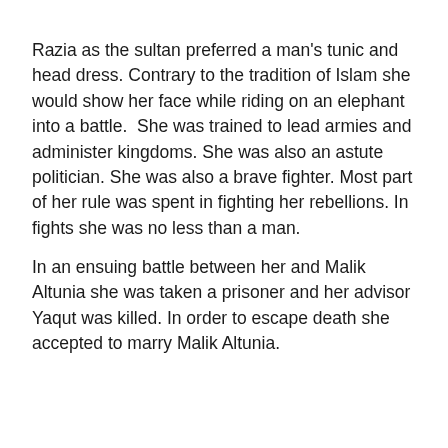Razia as the sultan preferred a man's tunic and head dress. Contrary to the tradition of Islam she would show her face while riding on an elephant into a battle. She was trained to lead armies and administer kingdoms. She was also an astute politician. She was also a brave fighter. Most part of her rule was spent in fighting her rebellions. In fights she was no less than a man.
In an ensuing battle between her and Malik Altunia she was taken a prisoner and her advisor Yaqut was killed. In order to escape death she accepted to marry Malik Altunia.